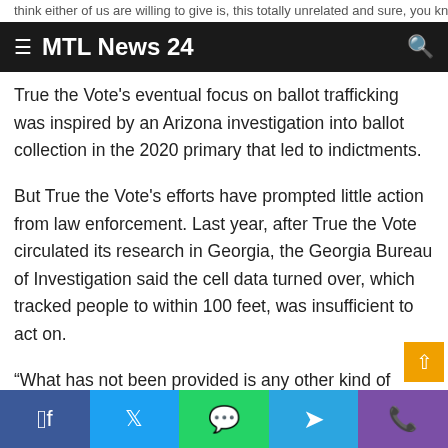≡ MTL News 24
True the Vote's eventual focus on ballot trafficking was inspired by an Arizona investigation into ballot collection in the 2020 primary that led to indictments.
But True the Vote's efforts have prompted little action from law enforcement. Last year, after True the Vote circulated its research in Georgia, the Georgia Bureau of Investigation said the cell data turned over, which tracked people to within 100 feet, was insufficient to act on.
“What has not been provided is any other kind of evidence that ties these cellphones to ballot harvesting,” the bureau said in a letter. “For example, there are no statements of witnesses a…
Facebook Twitter WhatsApp Telegram Phone